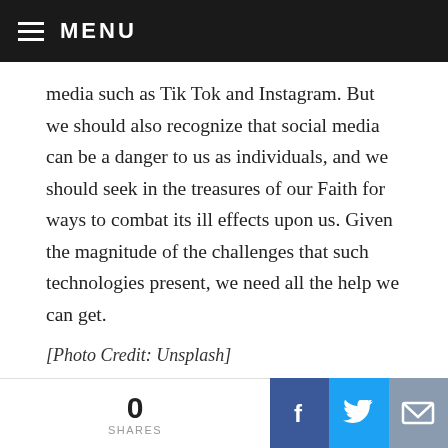MENU
media such as Tik Tok and Instagram. But we should also recognize that social media can be a danger to us as individuals, and we should seek in the treasures of our Faith for ways to combat its ill effects upon us. Given the magnitude of the challenges that such technologies present, we need all the help we can get.
[Photo Credit: Unsplash]
[Figure (infographic): Social share buttons: Facebook (blue), Twitter (light blue), Print (gray), Pinterest (red), More (orange-red)]
[Figure (infographic): Bottom sharing bar with 0 SHARES count, Facebook share button (dark blue), Twitter share button (blue), Email share button (gray)]